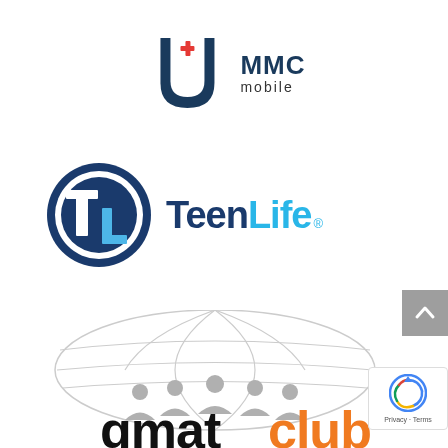[Figure (logo): MMC Mobile logo with a U-shaped shield icon with a red cross, and text 'MMC mobile' in dark navy/black]
[Figure (logo): TeenLife logo: circular TL monogram in dark blue with white circle border, and 'TeenLife' text in cyan/light blue with registered trademark symbol]
[Figure (logo): GMAT Club logo: globe wireframe with gray people silhouettes beneath, text 'gmat' in black bold and 'club' in orange bold]
[Figure (screenshot): Gray scroll-to-top button with an up arrow chevron]
[Figure (screenshot): Google reCAPTCHA badge with Privacy and Terms links]